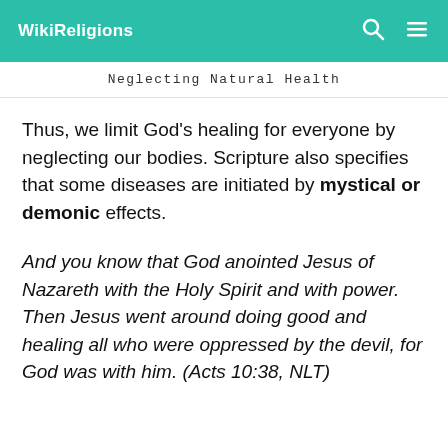WikiReligions
Neglecting Natural Health
Thus, we limit God’s healing for everyone by neglecting our bodies. Scripture also specifies that some diseases are initiated by mystical or demonic effects.
And you know that God anointed Jesus of Nazareth with the Holy Spirit and with power. Then Jesus went around doing good and healing all who were oppressed by the devil, for God was with him. (Acts 10:38, NLT)